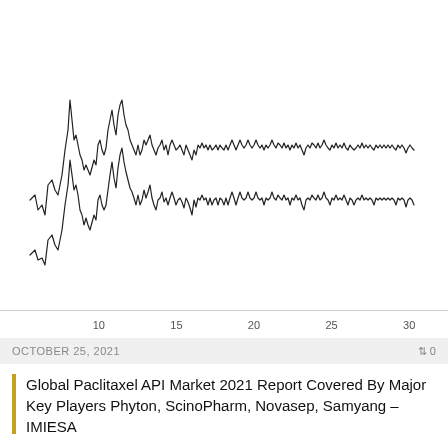[Figure (continuous-plot): Two overlapping waveform/time-series line charts showing volatile financial or market data over a period spanning approximately days 5 through 32 of a month. The upper series and lower series both show high-frequency oscillations with prominent peaks around days 10, 15, 20, and 28-31. X-axis shows day numbers: 10, 15, 20, 25, 30.]
OCTOBER 25, 2021
0
Global Paclitaxel API Market 2021 Report Covered By Major Key Players Phyton, ScinoPharm, Novasep, Samyang – IMIESA